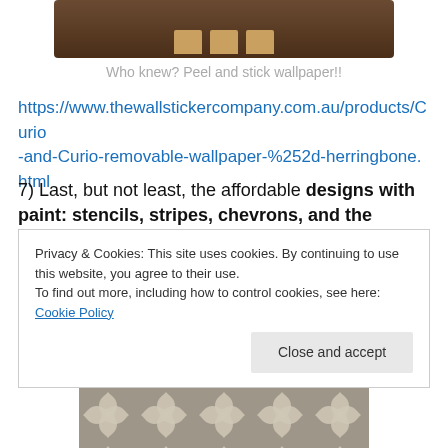[Figure (photo): Partial photo of a dark wood shelf with wicker/rattan baskets]
Who knew? Peel and stick wallpaper!!
https://www.thewallstickercompany.com.au/products/Curio-and-Curio-removable-wallpaper-%252d-herringbone.html
7) Last, but not least, the affordable designs with paint: stencils, stripes, chevrons, and the abstract
[Figure (photo): Gray and white decorative stencil pattern with Moroccan/geometric motif]
Privacy & Cookies: This site uses cookies. By continuing to use this website, you agree to their use.
To find out more, including how to control cookies, see here: Cookie Policy
[Figure (photo): Bottom strip of a gray stencil pattern image]